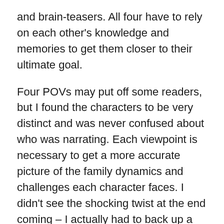and brain-teasers. All four have to rely on each other's knowledge and memories to get them closer to their ultimate goal.
Four POVs may put off some readers, but I found the characters to be very distinct and was never confused about who was narrating. Each viewpoint is necessary to get a more accurate picture of the family dynamics and challenges each character faces. I didn't see the shocking twist at the end coming – I actually had to back up a couple paragraphs – but when it happened it made perfect sense. Now I'm even more anxious for the second book.
If you're a fan of character-driven fantasy, magical